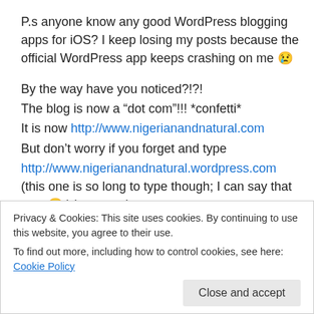P.s anyone know any good WordPress blogging apps for iOS? I keep losing my posts because the official WordPress app keeps crashing on me 😢
By the way have you noticed?!?!
The blog is now a "dot com"!!! *confetti*
It is now http://www.nigerianandnatural.com
But don't worry if you forget and type
http://www.nigerianandnatural.wordpress.com (this one is so long to type though; I can say that now 😀 ) because it
Privacy & Cookies: This site uses cookies. By continuing to use this website, you agree to their use.
To find out more, including how to control cookies, see here: Cookie Policy
Close and accept